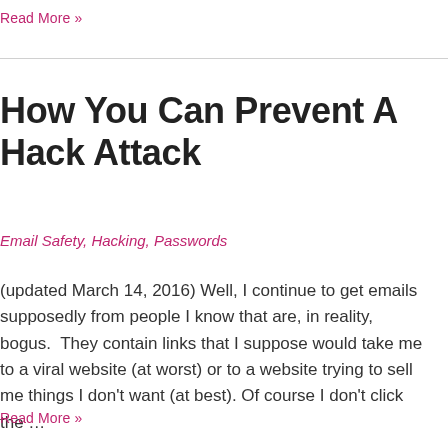Read More »
How You Can Prevent A Hack Attack
Email Safety, Hacking, Passwords
(updated March 14, 2016) Well, I continue to get emails supposedly from people I know that are, in reality, bogus.  They contain links that I suppose would take me to a viral website (at worst) or to a website trying to sell me things I don't want (at best). Of course I don't click the …
Read More »